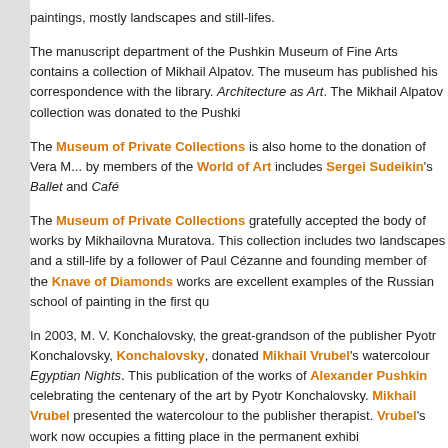paintings, mostly landscapes and still-lifes.
The manuscript department of the Pushkin Museum of Fine Arts contains a collection of Mikhail Alpatov. The museum has published his correspondence with the li... Architecture as Art. The Mikhail Alpatov collection was donated to the Pushki...
The Museum of Private Collections is also home to the donation of Vera M... by members of the World of Art includes Sergei Sudeikin's Ballet and Café...
The Museum of Private Collections gratefully accepted the body of works b... Mikhailovna Muratova. This collection includes two landscapes and a still-life... a follower of Paul Cézanne and founding member of the Knave of Diamonds... works are excellent examples of the Russian school of painting in the first qu...
In 2003, M. V. Konchalovsky, the great-grandson of the publisher Pyotr Konch... Konchalovsky, donated Mikhail Vrubel's watercolour Egyptian Nights. This... publication of the works of Alexander Pushkin celebrating the centenary of t... by Pyotr Konchalovsky. Mikhail Vrubel presented the watercolour to the pub... therapist. Vrubel's work now occupies a fitting place in the permanent exhibi...